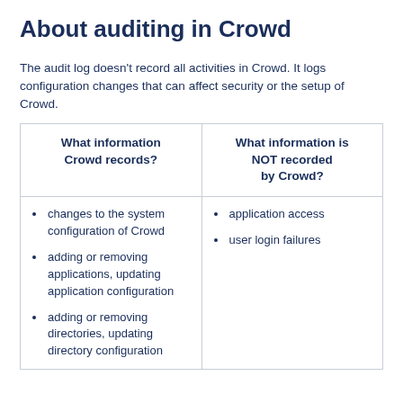About auditing in Crowd
The audit log doesn't record all activities in Crowd. It logs configuration changes that can affect security or the setup of Crowd.
| What information Crowd records? | What information is NOT recorded by Crowd? |
| --- | --- |
| changes to the system configuration of Crowd
adding or removing applications, updating application configuration
adding or removing directories, updating directory configuration | application access
user login failures |